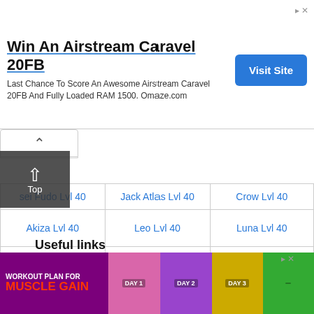[Figure (other): Advertisement banner: Win An Airstream Caravel 20FB. Last Chance To Score An Awesome Airstream Caravel 20FB And Fully Loaded RAM 1500. Omaze.com. With Visit Site button.]
| sei Fudo Lvl 40 | Jack Atlas Lvl 40 | Crow Lvl 40 |
| --- | --- | --- |
| Akiza Lvl 40 | Leo Lvl 40 | Luna Lvl 40 |
| Officer Tetsu | DS Kalin | DS Carly |
| DS Rex Goodwin | Carly Carmine Lvl 40 (Gate) | Kalin Kessler Lvl 40 (Gate) |
| Antinomy Lvl 40 (Gate) | Aporia Lvl 40 (Gate) | - |
Useful links
[Figure (other): Advertisement banner for Workout Plan for Muscle Gain with day-by-day schedule images.]